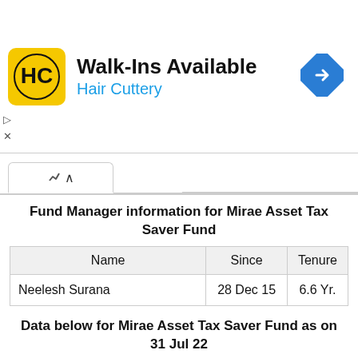[Figure (other): Advertisement banner for Hair Cuttery - Walk-Ins Available with logo and navigation arrow]
Fund Manager information for Mirae Asset Tax Saver Fund
| Name | Since | Tenure |
| --- | --- | --- |
| Neelesh Surana | 28 Dec 15 | 6.6 Yr. |
Data below for Mirae Asset Tax Saver Fund as on 31 Jul 22
Equity Sector Allocation
| Sector | Value |
| --- | --- |
| Financial Services | 34.32% |